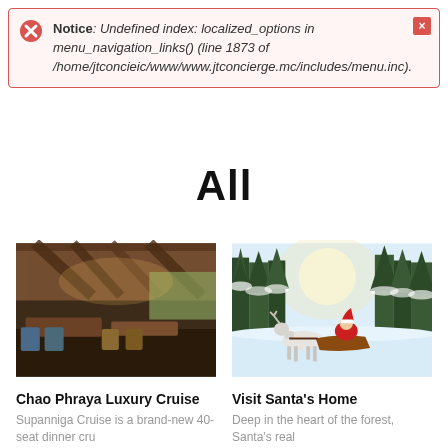Notice: Undefined index: localized_options in menu_navigation_links() (line 1873 of /home/jtconcieic/www/www.jtconcierge.mc/includes/menu.inc).
All
[Figure (photo): Interior of a luxury restaurant/cruise ship dining area with wooden ceiling, warm lighting, dining tables and chairs arranged on a deck overlooking water.]
[Figure (photo): Winter scene with a reindeer pulling a sleigh through a snowy forest with tall evergreen trees and bright sunlight in the background.]
Chao Phraya Luxury Cruise
Supanniga Cruise is a brand-new 40-seat dinner cru
More
Visit Santa's Home
Deep in the heart of the forest, Santa's real
More